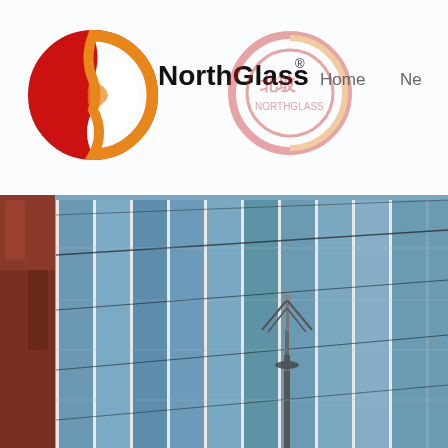[Figure (screenshot): NorthGlass company website screenshot. White header bar with NorthGlass logo (red/orange circular logo with black bold text 'NorthGlass' and registered trademark symbol), a semi-transparent Chinese logo in the center of the header, and navigation links 'Home' and 'Ne...' on the right. The main content area shows a large photograph of a glass curtain wall building facade with blue reflective glass panels divided by white vertical mullions, with a communications tower visible in front of the building. The left edge shows a reddish-brown building structure.]